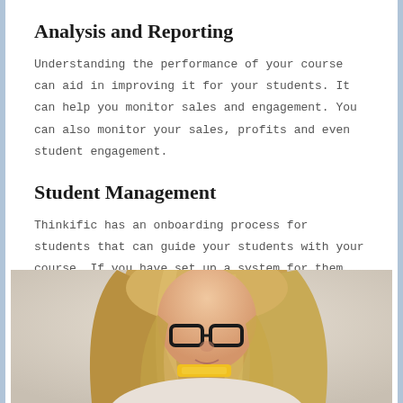Analysis and Reporting
Understanding the performance of your course can aid in improving it for your students. It can help you monitor sales and engagement. You can also monitor your sales, profits and even student engagement.
Student Management
Thinkific has an onboarding process for students that can guide your students with your course. If you have set up a system for them, they'll receive emails, email notifications as well as access to community.
[Figure (photo): A young woman with long blonde hair wearing glasses, looking downward, holding something yellow, photographed from above against a light background.]